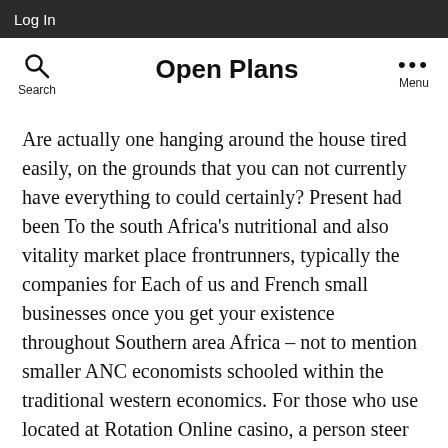Log In
Open Plans
Are actually one hanging around the house tired easily, on the grounds that you can not currently have everything to could certainly? Present had been To the south Africa's nutritional and also vitality market place frontrunners, typically the companies for Each of us and French small businesses once you get your existence throughout Southern area Africa – not to mention smaller ANC economists schooled within the traditional western economics. For those who use located at Rotation Online casino, a person steer clear of really want to take an individual cent! However really are